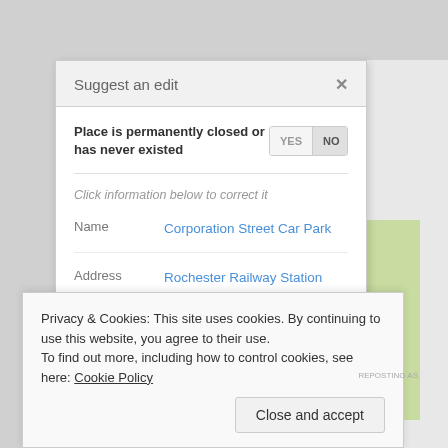[Figure (screenshot): Google Maps 'Suggest an edit' dialog for Corporation Street Car Park in Rochester, showing fields for Name, Address, and Category. A cookie consent banner overlays the bottom of the screen.]
Suggest an edit
Place is permanently closed or has never existed
Click information below to correct it
Name   Corporation Street Car Park
Address   Rochester Railway Station
Corporation St
Rochester
ME1 1NH
Category   Car Park
Privacy & Cookies: This site uses cookies. By continuing to use this website, you agree to their use.
To find out more, including how to control cookies, see here: Cookie Policy